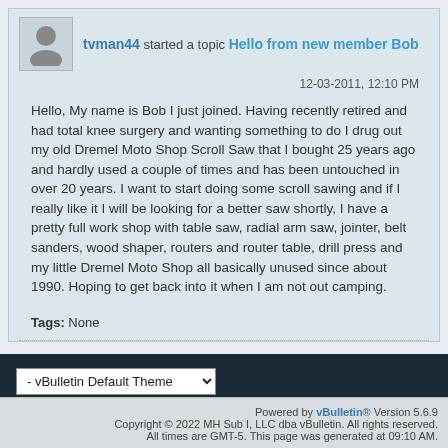tvman44 started a topic Hello from new member Bob
12-03-2011, 12:10 PM
Hello, My name is Bob I just joined. Having recently retired and had total knee surgery and wanting something to do I drug out my old Dremel Moto Shop Scroll Saw that I bought 25 years ago and hardly used a couple of times and has been untouched in over 20 years. I want to start doing some scroll sawing and if I really like it I will be looking for a better saw shortly, I have a pretty full work shop with table saw, radial arm saw, jointer, belt sanders, wood shaper, routers and router table, drill press and my little Dremel Moto Shop all basically unused since about 1990. Hoping to get back into it when I am not out camping.
Tags: None
Powered by vBulletin® Version 5.6.9 Copyright © 2022 MH Sub I, LLC dba vBulletin. All rights reserved. All times are GMT-5. This page was generated at 09:10 AM.